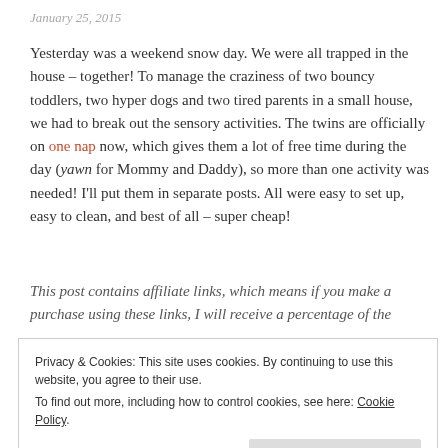January 25, 2015
Yesterday was a weekend snow day. We were all trapped in the house – together! To manage the craziness of two bouncy toddlers, two hyper dogs and two tired parents in a small house, we had to break out the sensory activities. The twins are officially on one nap now, which gives them a lot of free time during the day (yawn for Mommy and Daddy), so more than one activity was needed! I'll put them in separate posts. All were easy to set up, easy to clean, and best of all – super cheap!
This post contains affiliate links, which means if you make a purchase using these links, I will receive a percentage of the
Privacy & Cookies: This site uses cookies. By continuing to use this website, you agree to their use.
To find out more, including how to control cookies, see here: Cookie Policy
Close and accept